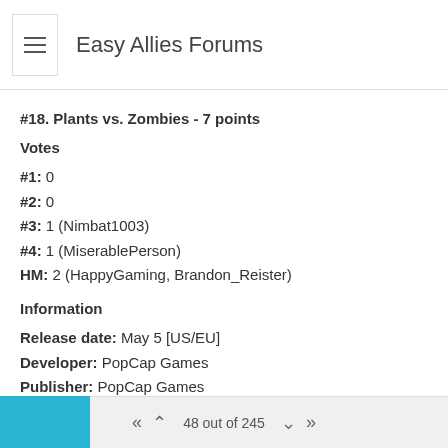Easy Allies Forums
#18. Plants vs. Zombies - 7 points
Votes
#1: 0
#2: 0
#3: 1 (Nimbat1003)
#4: 1 (MiserablePerson)
HM: 2 (HappyGaming, Brandon_Reister)
Information
Release date: May 5 [US/EU]
Developer: PopCap Games
Publisher: PopCap Games
Genre: Tower defense
Platform(s): PlayStation 3, Xbox 360, Nintendo DS, PlayStation Vita, PC
48 out of 245